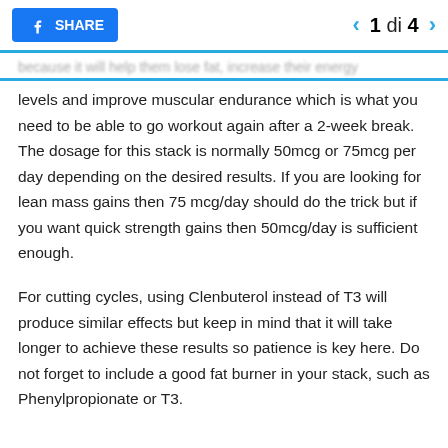SHARE | 1 di 4
...because it will help them lose fat, increase their energy levels and improve muscular endurance which is what you need to be able to go workout again after a 2-week break. The dosage for this stack is normally 50mcg or 75mcg per day depending on the desired results. If you are looking for lean mass gains then 75 mcg/day should do the trick but if you want quick strength gains then 50mcg/day is sufficient enough.
For cutting cycles, using Clenbuterol instead of T3 will produce similar effects but keep in mind that it will take longer to achieve these results so patience is key here. Do not forget to include a good fat burner in your stack, such as Phenylpropionate or T3.